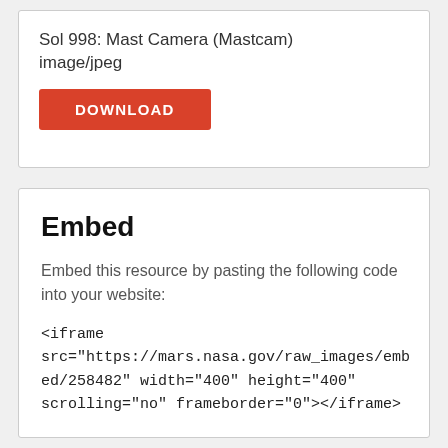Sol 998: Mast Camera (Mastcam)
image/jpeg
DOWNLOAD
Embed
Embed this resource by pasting the following code into your website:
<iframe src="https://mars.nasa.gov/raw_images/embed/258482" width="400" height="400" scrolling="no" frameborder="0"></iframe>